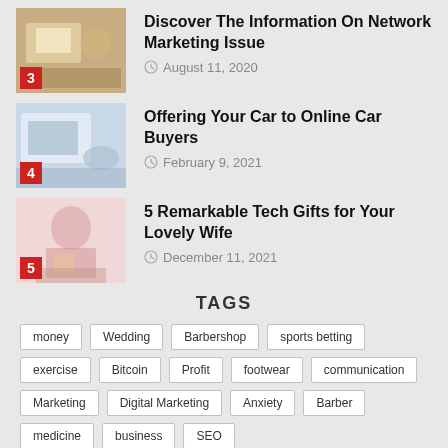Discover The Information On Network Marketing Issue — August 11, 2020
Offering Your Car to Online Car Buyers — February 9, 2021
5 Remarkable Tech Gifts for Your Lovely Wife — December 11, 2021
TAGS
money Wedding Barbershop sports betting exercise Bitcoin Profit footwear communication Marketing Digital Marketing Anxiety Barber medicine business SEO